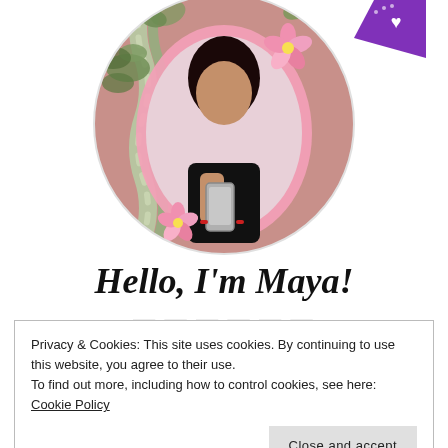[Figure (photo): Profile photo of Maya — a woman taking a selfie in a pink oval mirror with rope hanging plant holder and pink flowers, circular crop]
Hello, I'm Maya!
Privacy & Cookies: This site uses cookies. By continuing to use this website, you agree to their use.
To find out more, including how to control cookies, see here: Cookie Policy
Close and accept